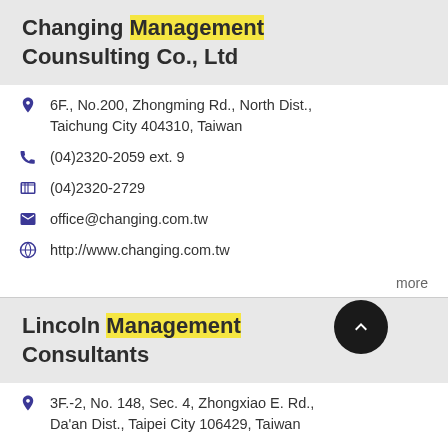Changing Management Counsulting Co., Ltd
6F., No.200, Zhongming Rd., North Dist., Taichung City 404310, Taiwan
(04)2320-2059 ext. 9
(04)2320-2729
office@changing.com.tw
http://www.changing.com.tw
more
Lincoln Management Consultants
3F.-2, No. 148, Sec. 4, Zhongxiao E. Rd., Da'an Dist., Taipei City 106429, Taiwan
(02)2781-8878
marketing@lincoln.com.tw